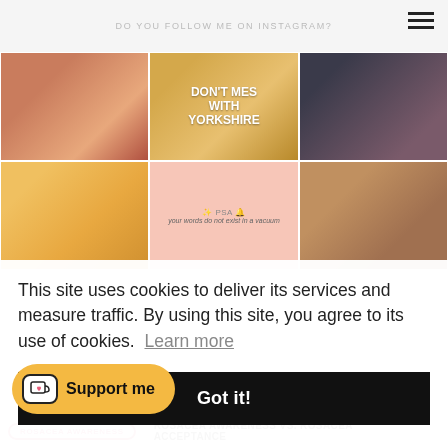DO YOU FOLLOW ME ON INSTAGRAM?
[Figure (photo): Instagram photo grid: row 1 has woman with red hair, dog wearing 'Don't Mess With Yorkshire' jacket, woman with pink makeup on cheek. Row 2 has partial yellow/orange image, pink PSA card reading 'your words do not exist in a vacuum', partial brown image.]
This site uses cookies to deliver its services and measure traffic. By using this site, you agree to its use of cookies.  Learn more
Got it!
Support me
ROSACEA AWARENESS
ROSACEA AWARENESS VS. ROSACEA ACCEPTANCE